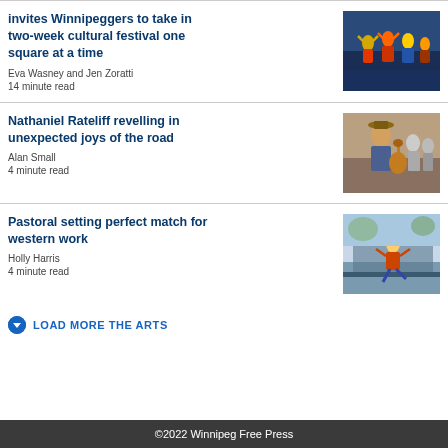invites Winnipeggers to take in two-week cultural festival one square at a time
Eva Wasney and Jen Zoratti
14 minute read
[Figure (photo): Performers in colorful traditional costumes dancing on stage]
Nathaniel Rateliff revelling in unexpected joys of the road
Alan Small
4 minute read
[Figure (photo): Band members with guitarist in hat posing for photo]
Pastoral setting perfect match for western work
Holly Harris
4 minute read
[Figure (photo): Performer on stage in outdoor venue with colorful costume]
LOAD MORE THE ARTS
©2022 Winnipeg Free Press